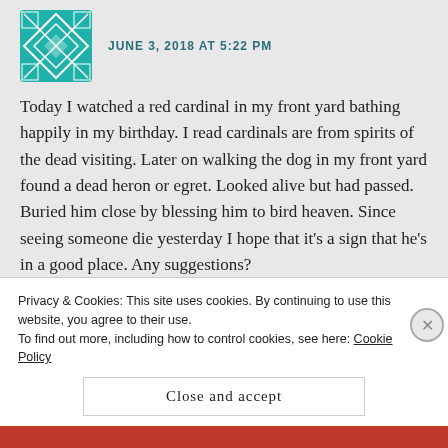JUNE 3, 2018 AT 5:22 PM
Today I watched a red cardinal in my front yard bathing happily in my birthday. I read cardinals are from spirits of the dead visiting. Later on walking the dog in my front yard found a dead heron or egret. Looked alive but had passed. Buried him close by blessing him to bird heaven. Since seeing someone die yesterday I hope that it’s a sign that he’s in a good place. Any suggestions?
Like
REPLY
Kate Rawding
Privacy & Cookies: This site uses cookies. By continuing to use this website, you agree to their use.
To find out more, including how to control cookies, see here: Cookie Policy
Close and accept